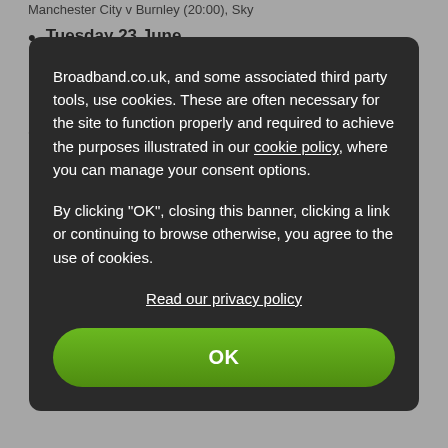Manchester City v Burnley (20:00), Sky
Tuesday 23 June
Leicester v Brighton (18:00), Sky
Tottenham v West Ham (20:15), Sky
Wednesday 24 June
Manchester United v Sheffield United (18:00), Sky and [obscured by modal]
Broadband.co.uk, and some associated third party tools, use cookies. These are often necessary for the site to function properly and required to achieve the purposes illustrated in our cookie policy, where you can manage your consent options.
By clicking "OK", closing this banner, clicking a link or continuing to browse otherwise, you agree to the use of cookies.
Read our privacy policy
OK
Liverpool v Crystal Palace (20:15), Sky
[...] v Watford (18:00), Sky and Pick
Southampton [...]
Chelsea v Manchester City (20:15) - [...]
Aston Villa v Wolves (19:30), BT